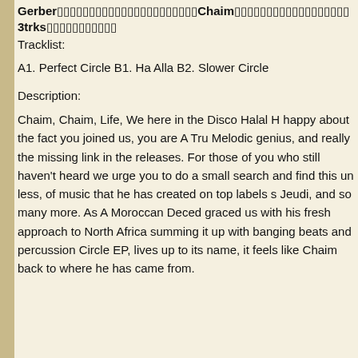Gerber [garbled] Chain [garbled] 3trks [garbled]
Tracklist:
A1. Perfect Circle B1. Ha Alla B2. Slower Circle
Description:
Chaim, Chaim, Life, We here in the Disco Halal H happy about the fact you joined us, you are A Tru Melodic genius, and really the missing link in the releases. For those of you who still haven't heard we urge you to do a small search and find this un less, of music that he has created on top labels s Jeudi, and so many more. As A Moroccan Deced graced us with his fresh approach to North Africa summing it up with banging beats and percussion Circle EP, lives up to its name, it feels like Chaim back to where he has came from.